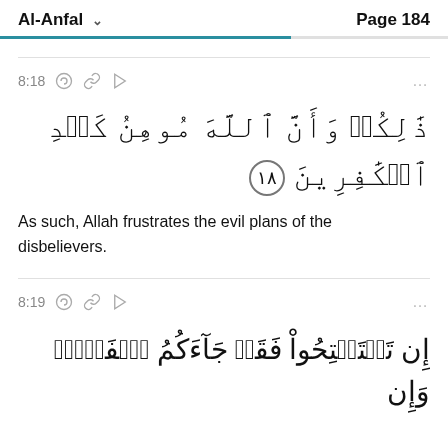Al-Anfal  Page 184
8:18
[Figure (illustration): Arabic Quran verse 8:18 with verse number marker 18 in decorative circle]
As such, Allah frustrates the evil plans of the disbelievers.
8:19
[Figure (illustration): Partial Arabic Quran verse 8:19 text at bottom]